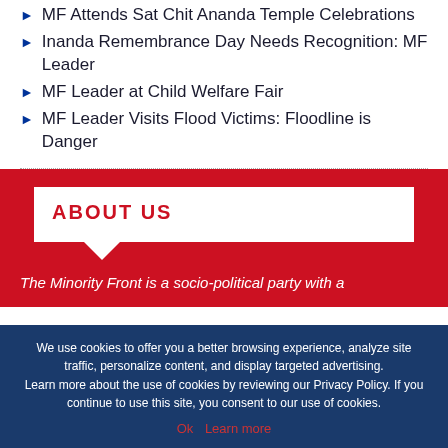MF Attends Sat Chit Ananda Temple Celebrations
Inanda Remembrance Day Needs Recognition: MF Leader
MF Leader at Child Welfare Fair
MF Leader Visits Flood Victims: Floodline is Danger
ABOUT US
The Minority Front is a socio-political party with a
We use cookies to offer you a better browsing experience, analyze site traffic, personalize content, and display targeted advertising. Learn more about the use of cookies by reviewing our Privacy Policy. If you continue to use this site, you consent to our use of cookies.